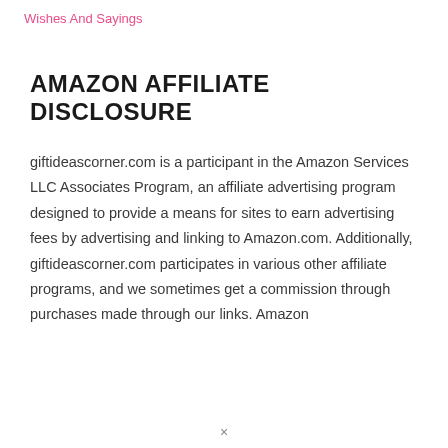Wishes And Sayings
AMAZON AFFILIATE DISCLOSURE
giftideascorner.com is a participant in the Amazon Services LLC Associates Program, an affiliate advertising program designed to provide a means for sites to earn advertising fees by advertising and linking to Amazon.com. Additionally, giftideascorner.com participates in various other affiliate programs, and we sometimes get a commission through purchases made through our links. Amazon